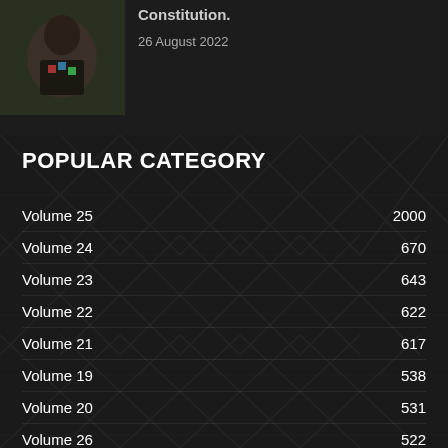[Figure (photo): Person wearing a colorful t-shirt, partial view, dark background]
Constitution.
26 August 2022
POPULAR CATEGORY
Volume 25    2000
Volume 24    670
Volume 23    643
Volume 22    622
Volume 21    617
Volume 19    538
Volume 20    531
Volume 26    522